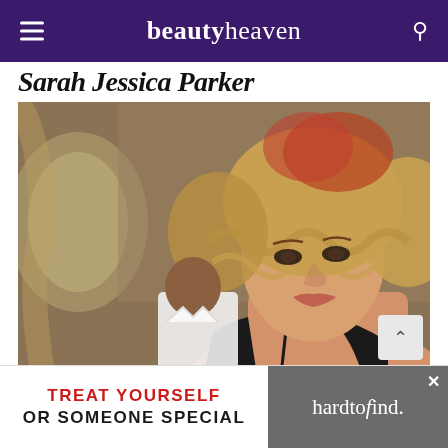beautyheaven
Sarah Jessica Parker
[Figure (photo): Photo of a woman with wavy blonde and auburn hair, wearing a black off-shoulder top, looking intensely at the camera. A man in a white shirt is visible in the background, slightly out of focus.]
TREAT YOURSELF OR SOMEONE SPECIAL
[Figure (logo): hardtofind. brand logo in white text on grey background]